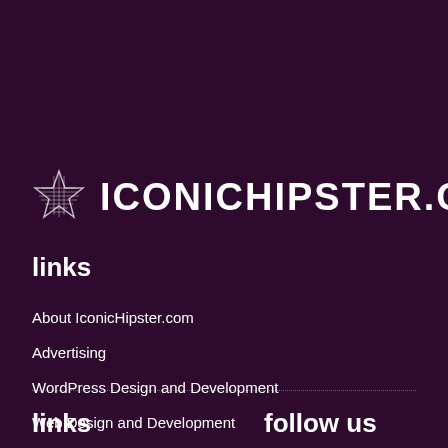[Figure (logo): Star icon logo with text ICONICHIPSTER.COM]
links
About IconicHipster.com
Advertising
WordPress Design and Development
Web Design and Development
links   follow us